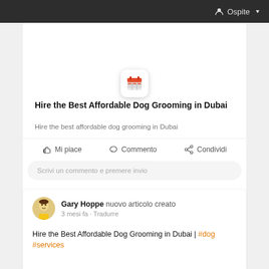Ospite
[Figure (photo): Dog grooming service hero image showing a person grooming a dog, with overlaid text: 'ss: 7B Street al qouz indu  4, Dubai']
[Figure (other): Floating white rounded square icon with red calendar/table icon]
Hire the Best Affordable Dog Grooming in Dubai
Hire the best affordable dog grooming in Dubai
Mi piace   Commento   Condividi
Scrivi un commento e premere invio
Gary Hoppe nuovo articolo creato
3 mesi fa - Tradurre
Hire the Best Affordable Dog Grooming in Dubai | #dog #services